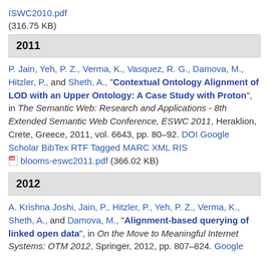ISWC2010.pdf (316.75 KB)
2011
P. Jain, Yeh, P. Z., Verma, K., Vasquez, R. G., Damova, M., Hitzler, P., and Sheth, A., "Contextual Ontology Alignment of LOD with an Upper Ontology: A Case Study with Proton", in The Semantic Web: Research and Applications - 8th Extended Semantic Web Conference, ESWC 2011, Heraklion, Crete, Greece, 2011, vol. 6643, pp. 80–92. DOI Google Scholar BibTex RTF Tagged MARC XML RIS blooms-eswc2011.pdf (366.02 KB)
2012
A. Krishna Joshi, Jain, P., Hitzler, P., Yeh, P. Z., Verma, K., Sheth, A., and Damova, M., "Alignment-based querying of linked open data", in On the Move to Meaningful Internet Systems: OTM 2012, Springer, 2012, pp. 807–824. Google